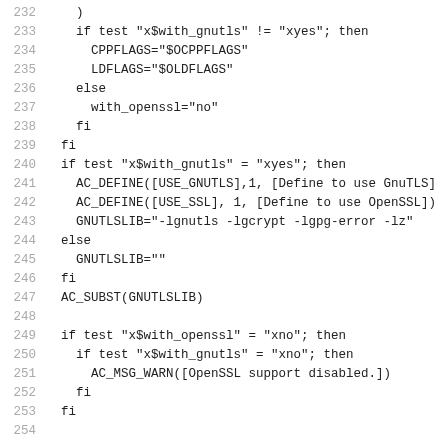[Figure (screenshot): Source code listing showing shell script lines 232-254 with GnuTLS and OpenSSL configuration checks]